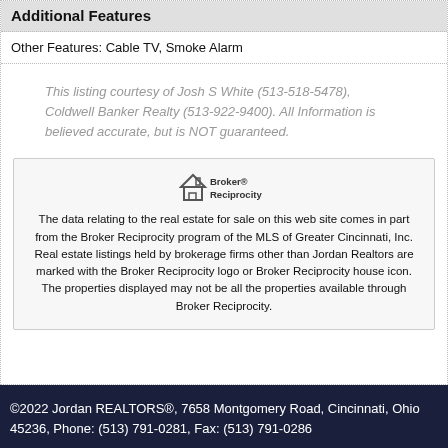Additional Features
Other Features: Cable TV, Smoke Alarm
This listing courtesy of Josh S White (513-518-5478), Coldwell Banker Realty (513-922-9400). All Information is believed accurate, but is NOT guaranteed.
[Figure (logo): Broker Reciprocity logo with house icon and text]
The data relating to the real estate for sale on this web site comes in part from the Broker Reciprocity program of the MLS of Greater Cincinnati, Inc. Real estate listings held by brokerage firms other than Jordan Realtors are marked with the Broker Reciprocity logo or Broker Reciprocity house icon. The properties displayed may not be all the properties available through Broker Reciprocity.
©2022 Jordan REALTORS®, 7658 Montgomery Road, Cincinnati, Ohio 45236, Phone: (513) 791-0281, Fax: (513) 791-0286